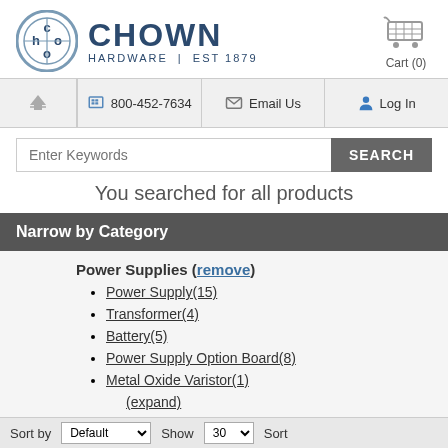[Figure (logo): Chown Hardware logo with circular CH monogram in steel blue and brand name 'CHOWN HARDWARE | EST 1879']
[Figure (illustration): Shopping cart icon]
Cart (0)
800-452-7634 | Email Us | Log In
Enter Keywords
You searched for all products
Narrow by Category
Power Supplies (remove)
Power Supply(15)
Transformer(4)
Battery(5)
Power Supply Option Board(8)
Metal Oxide Varistor(1)
(expand)
Sort by Default   Show 30   Sort